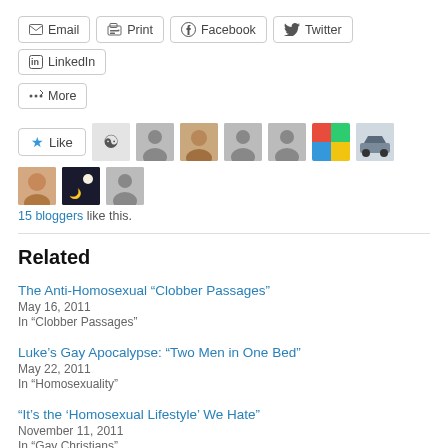[Figure (other): Social share buttons row: Email, Print, Facebook, Twitter, LinkedIn, More]
[Figure (other): Like button with star icon, followed by blogger avatar thumbnails. Text: 15 bloggers like this.]
Related
The Anti-Homosexual “Clobber Passages”
May 16, 2011
In “Clobber Passages”
Luke’s Gay Apocalypse: “Two Men in One Bed”
May 22, 2011
In “Homosexuality”
“It’s the ‘Homosexual Lifestyle’ We Hate”
November 11, 2011
In “Gay Christians”